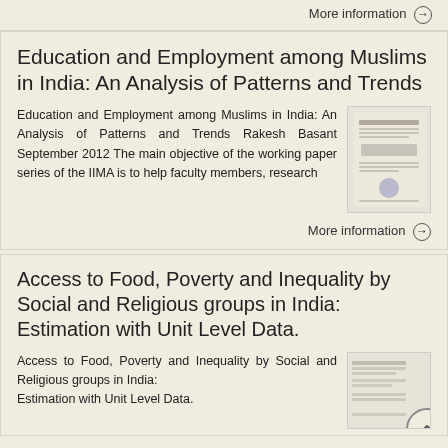More information →
Education and Employment among Muslims in India: An Analysis of Patterns and Trends
Education and Employment among Muslims in India: An Analysis of Patterns and Trends Rakesh Basant September 2012 The main objective of the working paper series of the IIMA is to help faculty members, research
[Figure (other): Thumbnail image of the paper cover page]
More information →
Access to Food, Poverty and Inequality by Social and Religious groups in India: Estimation with Unit Level Data.
Access to Food, Poverty and Inequality by Social and Religious groups in India: Estimation with Unit Level Data.
[Figure (other): Thumbnail image of the second paper cover page]